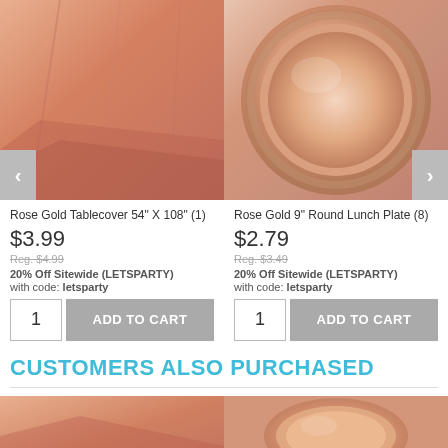[Figure (photo): Rose gold metallic tablecloth, showing shiny pink-gold foil surface with draped folds]
[Figure (photo): Rose gold 9-inch round paper lunch plate, showing circular plate with raised rim detail]
Rose Gold Tablecover 54" X 108" (1)
$3.99
Reg. $4.99
20% Off Sitewide (LETSPARTY)
with code: letsparty
Rose Gold 9" Round Lunch Plate (8)
$2.79
Reg. $3.49
20% Off Sitewide (LETSPARTY)
with code: letsparty
CUSTOMERS ALSO PURCHASED
[Figure (photo): Partial view of rose gold tablecloth bottom]
[Figure (photo): Partial view of rose gold round plate bottom]